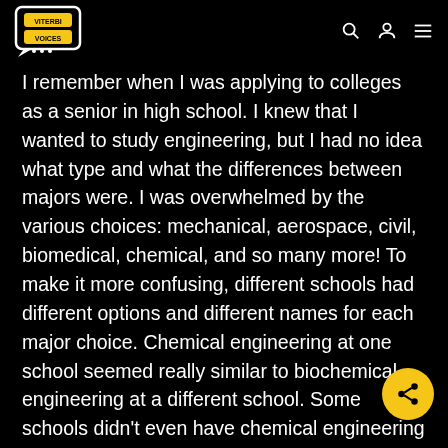Viterbi Voices logo with navigation icons (search, account, menu)
I remember when I was applying to colleges as a senior in high school. I knew that I wanted to study engineering, but I had no idea what type and what the differences between majors were. I was overwhelmed by the various choices: mechanical, aerospace, civil, biomedical, chemical, and so many more! To make it more confusing, different schools had different options and different names for each major choice. Chemical engineering at one school seemed really similar to biochemical engineering at a different school. Some schools didn't even have chemical engineering listed as an option. But wait, what even IS chemical engineering??!